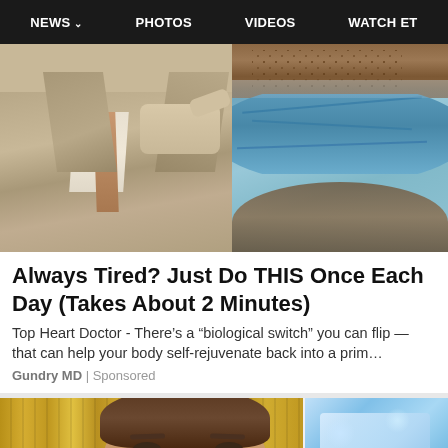NEWS  PHOTOS  VIDEOS  WATCH ET
[Figure (photo): Split image: left side shows a man in a grey suit, right side shows layered soil/mineral cross-section in blue and brown tones]
Always Tired? Just Do THIS Once Each Day (Takes About 2 Minutes)
Top Heart Doctor - There’s a “biological switch” you can flip — that can help your body self-rejuvenate back into a prim…
Gundry MD | Sponsored
[Figure (photo): Left: man with brown hair in front of gold/yellow curtain background. Right: blurred blue illuminated display or screen.]